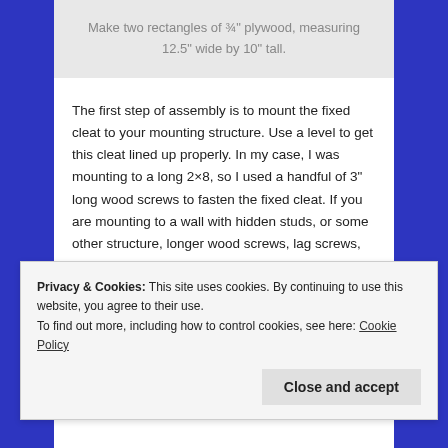Make two rectangles of ¾" plywood, measuring 12.5" wide by 10" tall.
The first step of assembly is to mount the fixed cleat to your mounting structure. Use a level to get this cleat lined up properly. In my case, I was mounting to a long 2×8, so I used a handful of 3" long wood screws to fasten the fixed cleat. If you are mounting to a wall with hidden studs, or some other structure, longer wood screws, lag screws, or bolts may be required. If using wood screws, use at least six, but make sure the fixed cleat is firmly attached to the mounting structure.
to use them the most. I then attached the first
Privacy & Cookies: This site uses cookies. By continuing to use this website, you agree to their use.
To find out more, including how to control cookies, see here: Cookie Policy